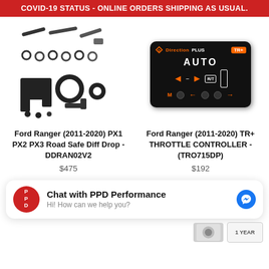COVID-19 STATUS - ONLINE ORDERS SHIPPING AS USUAL.
[Figure (photo): Hardware kit with bolts, washers, brackets and rings for diff drop]
Ford Ranger (2011-2020) PX1 PX2 PX3 Road Safe Diff Drop - DDRAN02V2
$475
[Figure (photo): Direction Plus TR+ Throttle Controller device with black casing, AUTO mode display, orange M button and arrow controls]
Ford Ranger (2011-2020) TR+ THROTTLE CONTROLLER - (TRO715DP)
$192
Chat with PPD Performance
Hi! How can we help you?